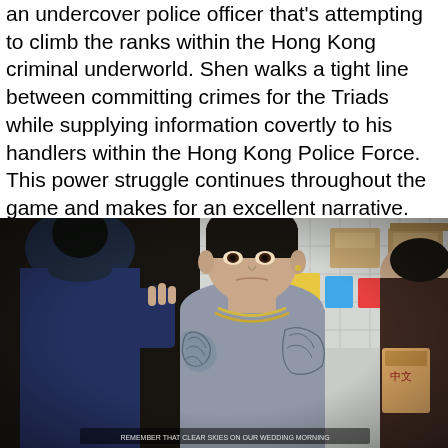an undercover police officer that's attempting to climb the ranks within the Hong Kong criminal underworld. Shen walks a tight line between committing crimes for the Triads while supplying information covertly to his handlers within the Hong Kong Police Force. This power struggle continues throughout the game and makes for an excellent narrative. Plot pacing and character development are excellent, easily rivaling games released by developers like Rockstar and Naughty Dog.
[Figure (screenshot): Video game screenshot showing three characters in what appears to be a warehouse or shop setting. The central character is a muscular Asian man with tattoos wearing a grey tank top and gold chain necklace, looking directly forward with a serious expression. Another character in a blue hoodie is seen from behind on the left, and a third character is partially visible on the right. The background shows shelves with boxes and supplies. There is subtitle text at the bottom of the image.]